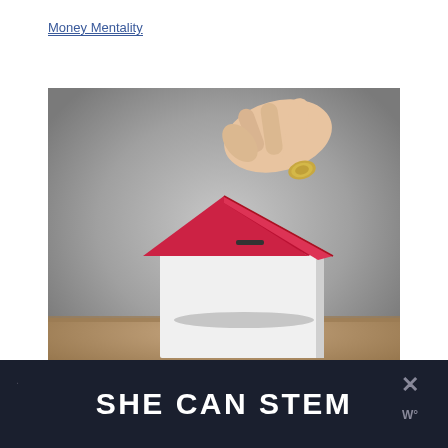Money Mentality
[Figure (photo): A hand inserting a coin into a white house-shaped piggy bank with a red roof, placed on a wooden surface against a grey background.]
SHE CAN STEM